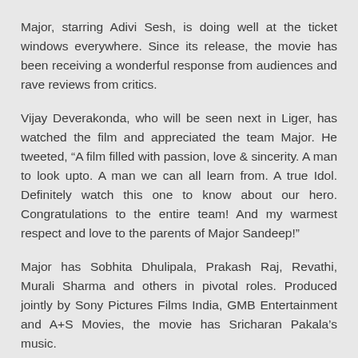Major, starring Adivi Sesh, is doing well at the ticket windows everywhere. Since its release, the movie has been receiving a wonderful response from audiences and rave reviews from critics.
Vijay Deverakonda, who will be seen next in Liger, has watched the film and appreciated the team Major. He tweeted, “A film filled with passion, love & sincerity. A man to look upto. A man we can all learn from. A true Idol. Definitely watch this one to know about our hero. Congratulations to the entire team! And my warmest respect and love to the parents of Major Sandeep!”
Major has Sobhita Dhulipala, Prakash Raj, Revathi, Murali Sharma and others in pivotal roles. Produced jointly by Sony Pictures Films India, GMB Entertainment and A+S Movies, the movie has Sricharan Pakala’s music.